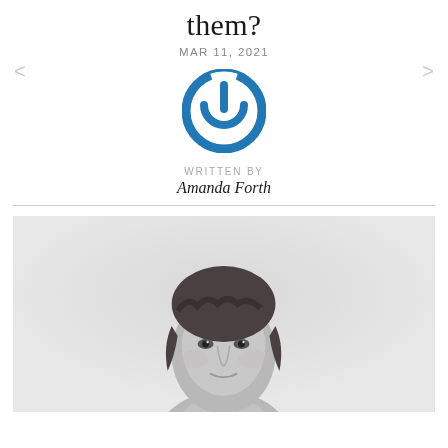them?
MAR 11, 2021
[Figure (logo): Blue circular power button logo icon]
WRITTEN BY
Amanda Forth
[Figure (photo): Black and white portrait photo of a woman with wavy hair, looking at camera, against a light grey background]